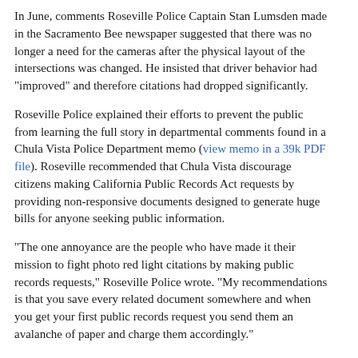In June, comments Roseville Police Captain Stan Lumsden made in the Sacramento Bee newspaper suggested that there was no longer a need for the cameras after the physical layout of the intersections was changed. He insisted that driver behavior had "improved" and therefore citations had dropped significantly.
Roseville Police explained their efforts to prevent the public from learning the full story in departmental comments found in a Chula Vista Police Department memo (view memo in a 39k PDF file). Roseville recommended that Chula Vista discourage citizens making California Public Records Act requests by providing non-responsive documents designed to generate huge bills for anyone seeking public information.
"The one annoyance are the people who have made it their mission to fight photo red light citations by making public records requests," Roseville Police wrote. "My recommendations is that you save every related document somewhere and when you get your first public records request you send them an avalanche of paper and charge them accordingly."
Like Transol before it, Nestor has been struggling financially and faces removal from the Nasdaq Capital Market on October 22 for failure to comply with the stock market rules. A copy of the Roseville termination agreement is available in a 161k PDF file...